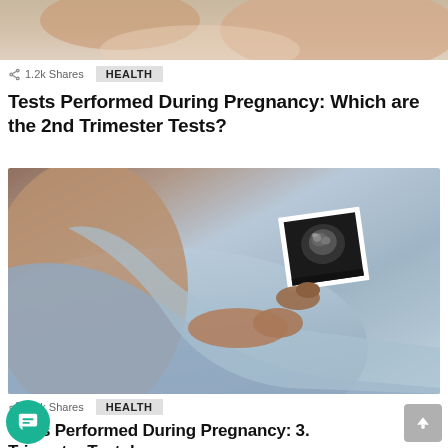[Figure (photo): Top portion of a medical/health photo showing hands, partially cropped at top of page]
1.2k Shares   HEALTH
Tests Performed During Pregnancy: Which are the 2nd Trimester Tests?
[Figure (photo): Pregnant woman lying down holding an ultrasound photo over her belly, wearing a light blue top]
1.2k Shares   HEALTH
Tests Performed During Pregnancy: 3. Trimester Tests!